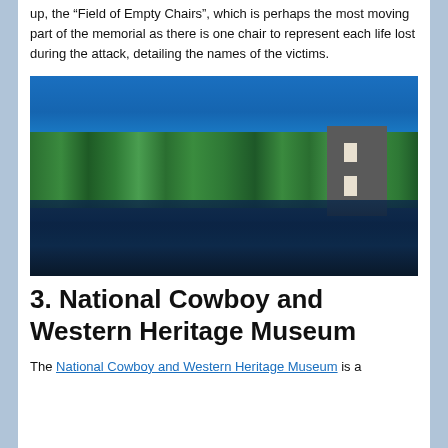up, the "Field of Empty Chairs", which is perhaps the most moving part of the memorial as there is one chair to represent each life lost during the attack, detailing the names of the victims.
[Figure (photo): Photograph of the Oklahoma City National Memorial showing a reflecting pool with trees and a large dark monument structure visible on the right side, all reflected in the still water under a clear blue sky.]
3. National Cowboy and Western Heritage Museum
The National Cowboy and Western Heritage Museum is a